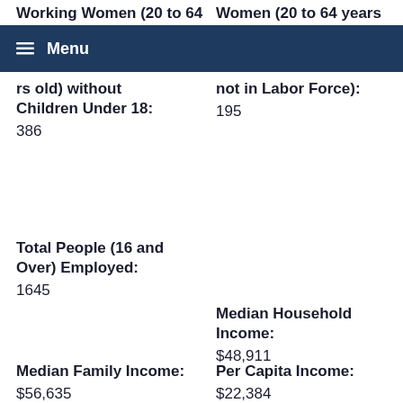Working Women (20 to 64 years old) without Children Under 18:
386
Women (20 to 64 years old) - Not Working (i.e., not in Labor Force):
195
Total People (16 and Over) Employed:
1645
Median Household Income:
$48,911
Median Family Income:
$56,635
Per Capita Income:
$22,384